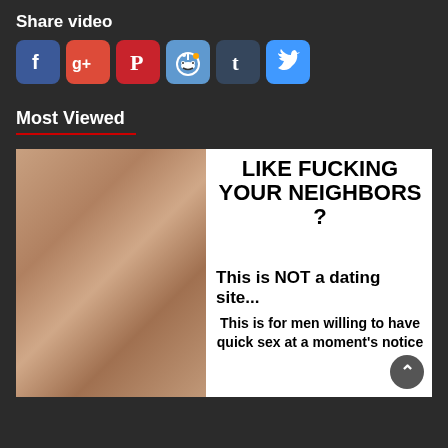Share video
[Figure (infographic): Social media sharing icons: Facebook, Google+, Pinterest, Reddit, Tumblr, Twitter]
Most Viewed
[Figure (photo): Advertisement image with a photo on the left and text on the right reading: LIKE FUCKING YOUR NEIGHBORS? [warning triangle] This is NOT a dating site... This is for men willing to have quick sex at a moment's notice]